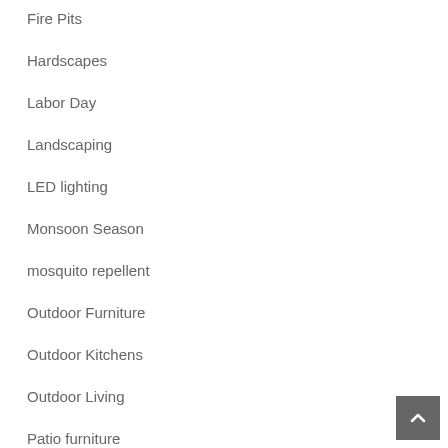Fire Pits
Hardscapes
Labor Day
Landscaping
LED lighting
Monsoon Season
mosquito repellent
Outdoor Furniture
Outdoor Kitchens
Outdoor Living
Patio furniture
ph balance
Phoenix Pool Builders